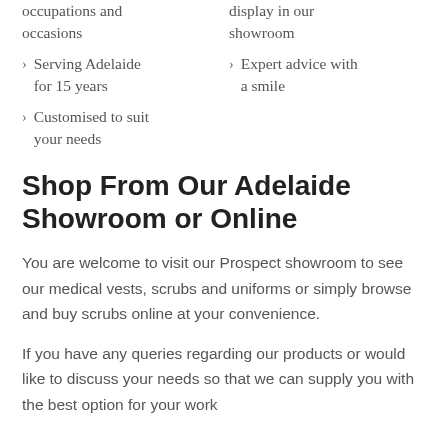occupations and occasions
display in our showroom
Serving Adelaide for 15 years
Expert advice with a smile
Customised to suit your needs
Shop From Our Adelaide Showroom or Online
You are welcome to visit our Prospect showroom to see our medical vests, scrubs and uniforms or simply browse and buy scrubs online at your convenience.
If you have any queries regarding our products or would like to discuss your needs so that we can supply you with the best option for your work